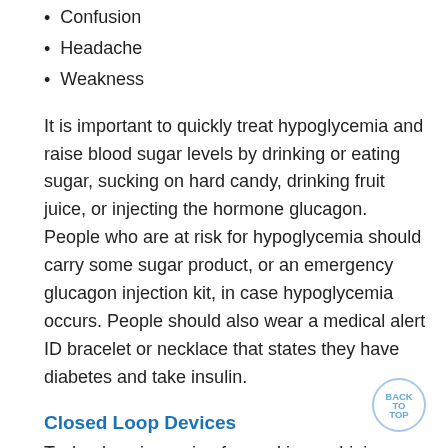Confusion
Headache
Weakness
It is important to quickly treat hypoglycemia and raise blood sugar levels by drinking or eating sugar, sucking on hard candy, drinking fruit juice, or injecting the hormone glucagon. People who are at risk for hypoglycemia should carry some sugar product, or an emergency glucagon injection kit, in case hypoglycemia occurs. People should also wear a medical alert ID bracelet or necklace that states they have diabetes and take insulin.
Closed Loop Devices
Technology is moving forward in combining a device that adjusts the dose of insulin (and sometimes a dose of a second hormone called glucagon) in response to